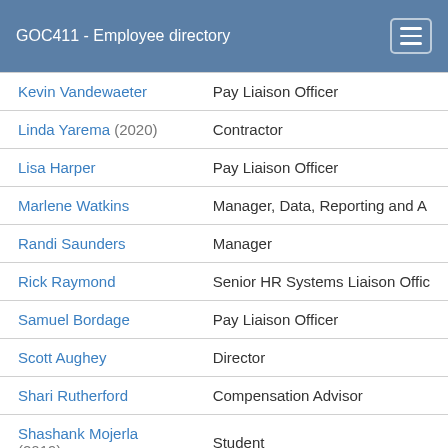GOC411 - Employee directory
| Name | Title |
| --- | --- |
| Kevin Vandewaeter | Pay Liaison Officer |
| Linda Yarema (2020) | Contractor |
| Lisa Harper | Pay Liaison Officer |
| Marlene Watkins | Manager, Data, Reporting and A… |
| Randi Saunders | Manager |
| Rick Raymond | Senior HR Systems Liaison Offic… |
| Samuel Bordage | Pay Liaison Officer |
| Scott Aughey | Director |
| Shari Rutherford | Compensation Advisor |
| Shashank Mojerla (2019) | Student |
| Stephanie Aubé | Pay Liaison Officer |